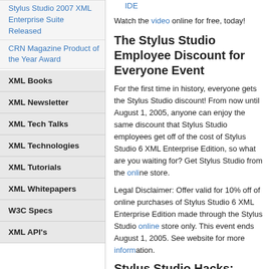IDE
Watch the video online for free, today!
The Stylus Studio Employee Dis... Everyone Event
For the first time in history, everyone gets the Stylus Stu... now until August 1, 2005, anyone can enjoy the same dis... employees get off of the cost of Stylus Studio 6 XML Ent... what are you waiting for? Get Stylus Studio from the onli...
Legal Disclaimer: Offer valid for 10% off of online purcha... Enterprise Edition made through the Stylus Studio online... event ends August 1, 2005. See website for more inform...
Stylus Studio Hacks: Using XML... Stylus Studio
Processing XML in your Java applications using JAXP is... XML documents - but what happens if your data is not al... relational, EDI, and other legacy data formats). The lates... Studio Hacks' series covers accessing data stored in CS...
XML Books
XML Newsletter
XML Tech Talks
XML Technologies
XML Tutorials
XML Whitepapers
W3C Specs
XML API's